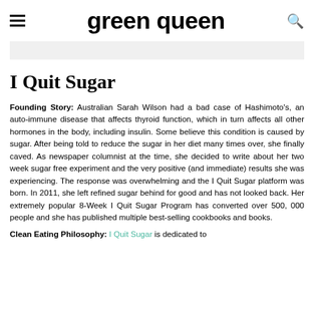green queen
I Quit Sugar
Founding Story: Australian Sarah Wilson had a bad case of Hashimoto's, an auto-immune disease that affects thyroid function, which in turn affects all other hormones in the body, including insulin. Some believe this condition is caused by sugar. After being told to reduce the sugar in her diet many times over, she finally caved. As newspaper columnist at the time, she decided to write about her two week sugar free experiment and the very positive (and immediate) results she was experiencing. The response was overwhelming and the I Quit Sugar platform was born. In 2011, she left refined sugar behind for good and has not looked back. Her extremely popular 8-Week I Quit Sugar Program has converted over 500, 000 people and she has published multiple best-selling cookbooks and books.
Clean Eating Philosophy: I Quit Sugar is dedicated to